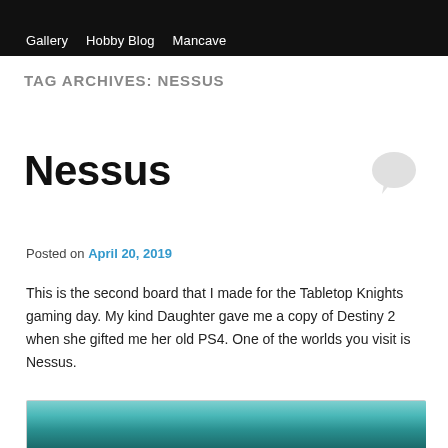Gallery  Hobby Blog  Mancave
TAG ARCHIVES: NESSUS
Nessus
Posted on April 20, 2019
This is the second board that I made for the Tabletop Knights gaming day. My kind Daughter gave me a copy of Destiny 2 when she gifted me her old PS4. One of the worlds you visit is Nessus.
[Figure (photo): Partial view of an atmospheric/landscape photo showing teal-colored cloudy sky, likely from Destiny 2 game world Nessus]